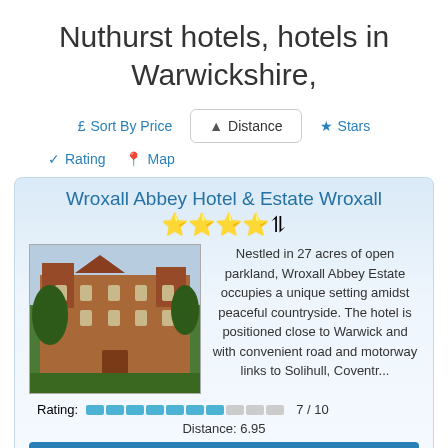Nuthurst hotels, hotels in Warwickshire,
£ Sort By Price
▲ Distance
★ Stars
✓ Rating
📍 Map
Wroxall Abbey Hotel & Estate Wroxall
Nestled in 27 acres of open parkland, Wroxall Abbey Estate occupies a unique setting amidst peaceful countryside. The hotel is positioned close to Warwick and with convenient road and motorway links to Solihull, Coventr...
Rating: 7 / 10
Distance: 6.95